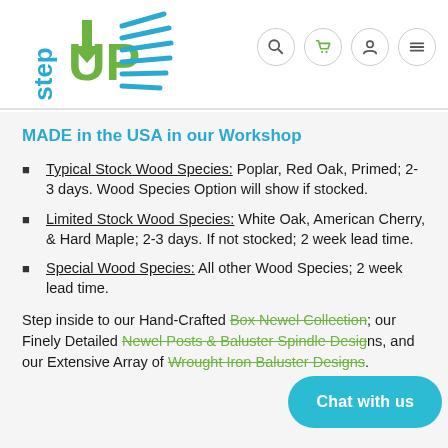[Figure (logo): Step UP logo with green UP arrow and blue 'step' text with blue diagonal lines]
[Figure (screenshot): Navigation icons: search (magnifying glass), cart, user account, and hamburger menu — each in a circle]
MADE in the USA in our Workshop
Typical Stock Wood Species: Poplar, Red Oak, Primed; 2-3 days. Wood Species Option will show if stocked.
Limited Stock Wood Species: White Oak, American Cherry, & Hard Maple; 2-3 days. If not stocked; 2 week lead time.
Special Wood Species: All other Wood Species; 2 week lead time.
Step inside to our Hand-Crafted Box Newel Collection; our Finely Detailed Newel Posts & Baluster Spindle Designs, and our Extensive Array of Wrought Iron Baluster Designs.